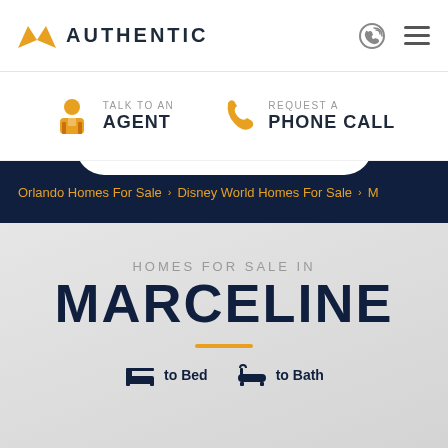AUTHENTIC
TALK TO AN AGENT
REQUEST A PHONE CALL
Orlando Homes For Sale > Disney World Homes For Sale >
HOMES FOR SALE IN MARCELINE
to Bed   to Bath